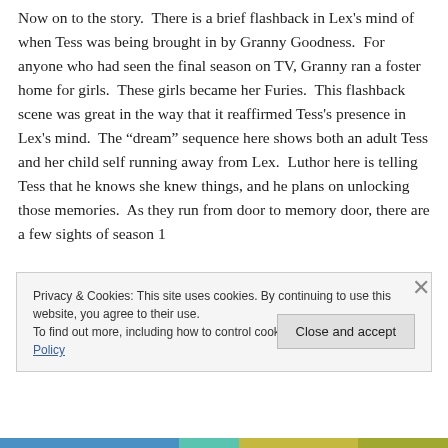Now on to the story.  There is a brief flashback in Lex's mind of when Tess was being brought in by Granny Goodness.  For anyone who had seen the final season on TV, Granny ran a foster home for girls.  These girls became her Furies.  This flashback scene was great in the way that it reaffirmed Tess's presence in Lex's mind.  The “dream” sequence here shows both an adult Tess and her child self running away from Lex.  Luthor here is telling Tess that he knows she knew things, and he plans on unlocking those memories.  As they run from door to memory door, there are a few sights of season 1
Privacy & Cookies: This site uses cookies. By continuing to use this website, you agree to their use.
To find out more, including how to control cookies, see here: Cookie Policy